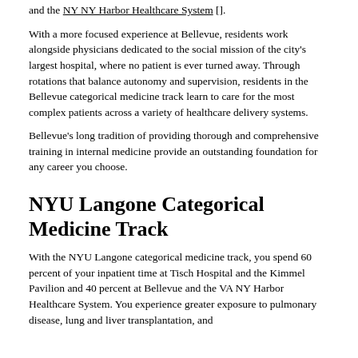and the NY NY Harbor Healthcare System [].
With a more focused experience at Bellevue, residents work alongside physicians dedicated to the social mission of the city's largest hospital, where no patient is ever turned away. Through rotations that balance autonomy and supervision, residents in the Bellevue categorical medicine track learn to care for the most complex patients across a variety of healthcare delivery systems.
Bellevue's long tradition of providing thorough and comprehensive training in internal medicine provide an outstanding foundation for any career you choose.
NYU Langone Categorical Medicine Track
With the NYU Langone categorical medicine track, you spend 60 percent of your inpatient time at Tisch Hospital and the Kimmel Pavilion and 40 percent at Bellevue and the VA NY Harbor Healthcare System. You experience greater exposure to pulmonary disease, lung and liver transplantation, and